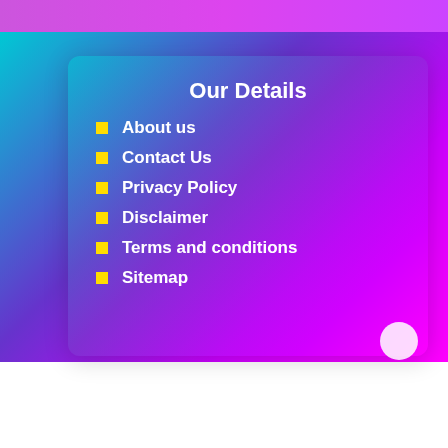Our Details
About us
Contact Us
Privacy Policy
Disclaimer
Terms and conditions
Sitemap